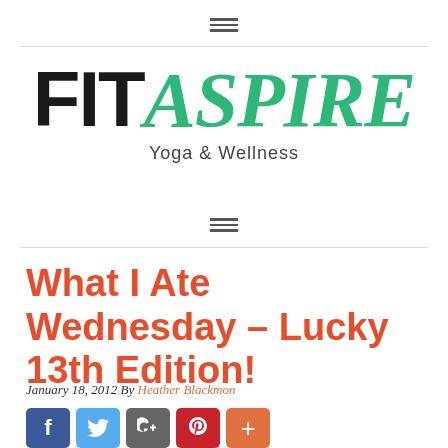☰ (hamburger menu icon)
[Figure (logo): FitAspire Yoga & Wellness logo with FIT in black bold and ASPIRE in green italic script]
What I Ate Wednesday – Lucky 13th Edition!
January 18, 2012 By Heather Blackmon
[Figure (infographic): Social sharing buttons: Facebook (blue), Twitter (blue), Google+ (gray), Pinterest (red), More (orange)]